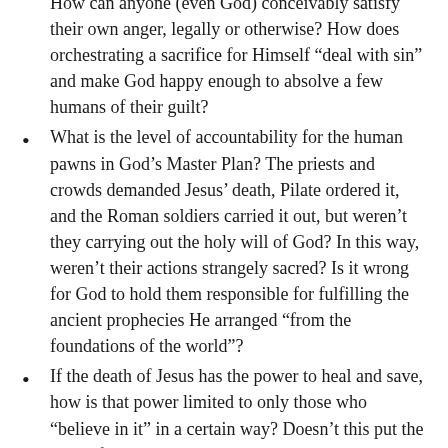How can anyone (even God) conceivably satisfy their own anger, legally or otherwise? How does orchestrating a sacrifice for Himself “deal with sin” and make God happy enough to absolve a few humans of their guilt?
What is the level of accountability for the human pawns in God’s Master Plan? The priests and crowds demanded Jesus’ death, Pilate ordered it, and the Roman soldiers carried it out, but weren’t they carrying out the holy will of God? In this way, weren’t their actions strangely sacred? Is it wrong for God to hold them responsible for fulfilling the ancient prophecies He arranged “from the foundations of the world”?
If the death of Jesus has the power to heal and save, how is that power limited to only those who “believe in it” in a certain way? Doesn’t this put the onus of salvation onto humans and their decision to think or not think certain thoughts? And how does the salvation of a small remnant of humanity fit in with the Bible’s vision